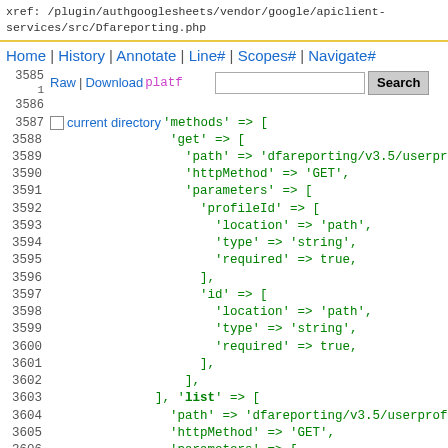xref: /plugin/authgooglesheets/vendor/google/apiclient-services/src/Dfareporting.php
Home | History | Annotate | Line# | Scopes# | Navigate#
3585 1 Raw | Download platf [search box] Search
3586
3587 current directory 'methods' => [
3588                 'get' => [
3589                   'path' => 'dfareporting/v3.5/userprofi
3590                   'httpMethod' => 'GET',
3591                   'parameters' => [
3592                     'profileId' => [
3593                       'location' => 'path',
3594                       'type' => 'string',
3595                       'required' => true,
3596                     ],
3597                     'id' => [
3598                       'location' => 'path',
3599                       'type' => 'string',
3600                       'required' => true,
3601                     ],
3602                   ],
3603               ], 'list' => [
3604                 'path' => 'dfareporting/v3.5/userprofi
3605                 'httpMethod' => 'GET',
3606                 'parameters' => [
3607                   'profileId' => [
3608                     'location' => 'path',
3609                     'type' => 'string',